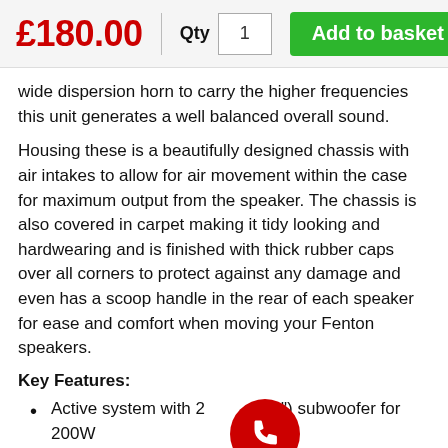£180.00
wide dispersion horn to carry the higher frequencies this unit generates a well balanced overall sound.
Housing these is a beautifully designed chassis with air intakes to allow for air movement within the case for maximum output from the speaker. The chassis is also covered in carpet making it tidy looking and hardwearing and is finished with thick rubber caps over all corners to protect against any damage and even has a scoop handle in the rear of each speaker for ease and comfort when moving your Fenton speakers.
Key Features:
Active system with 2") subwoofer for 200W max. performance
Down firing subwoofer in a heavy, low resonance